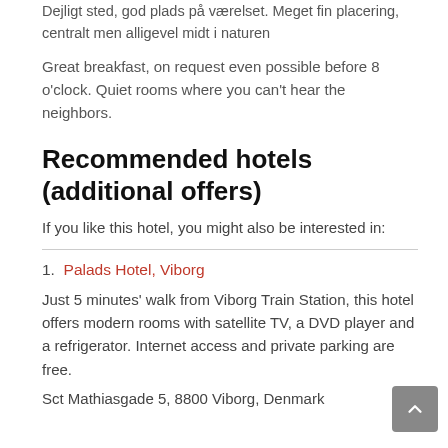Dejligt sted, god plads på værelset. Meget fin placering, centralt men alligevel midt i naturen
Great breakfast, on request even possible before 8 o'clock. Quiet rooms where you can't hear the neighbors.
Recommended hotels (additional offers)
If you like this hotel, you might also be interested in:
1. Palads Hotel, Viborg
Just 5 minutes' walk from Viborg Train Station, this hotel offers modern rooms with satellite TV, a DVD player and a refrigerator. Internet access and private parking are free.
Sct Mathiasgade 5, 8800 Viborg, Denmark